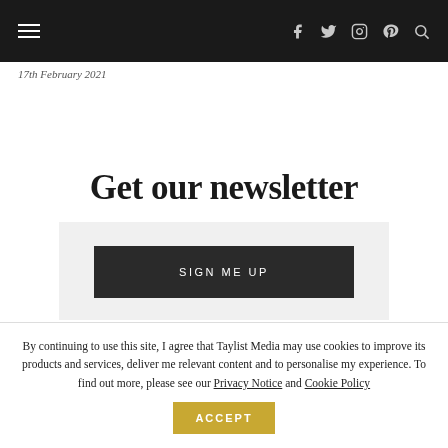Navigation bar with hamburger menu and social icons (Facebook, Twitter, Instagram, Pinterest, Search)
17th February 2021
Get our newsletter
SIGN ME UP
By continuing to use this site, I agree that Taylist Media may use cookies to improve its products and services, deliver me relevant content and to personalise my experience. To find out more, please see our Privacy Notice and Cookie Policy